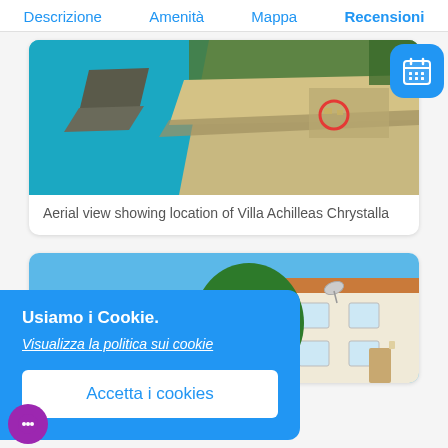Descrizione   Amenità   Mappa   Recensioni
[Figure (photo): Aerial view of coastline with turquoise sea, sandy beach and pier, showing location of Villa Achilleas Chrystalla marked with a red circle]
Aerial view showing location of Villa Achilleas Chrystalla
[Figure (photo): Partial view of a white villa building against a clear blue sky]
Usiamo i Cookie.
Visualizza la politica sui cookie
Accetta i cookies